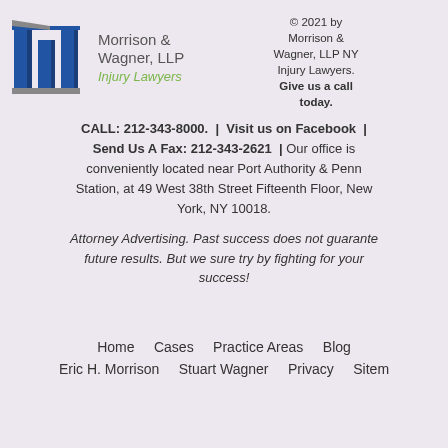[Figure (logo): Morrison & Wagner LLP Injury Lawyers logo with blue column pillars and firm name]
© 2021 by Morrison & Wagner, LLP NY Injury Lawyers. Give us a call today.
CALL: 212-343-8000. | Visit us on Facebook | Send Us A Fax: 212-343-2621 | Our office is conveniently located near Port Authority & Penn Station, at 49 West 38th Street Fifteenth Floor, New York, NY 10018.
Attorney Advertising. Past success does not guarantee future results. But we sure try by fighting for your success!
Home   Cases   Practice Areas   Blog   Eric H. Morrison   Stuart Wagner   Privacy   Sitemap